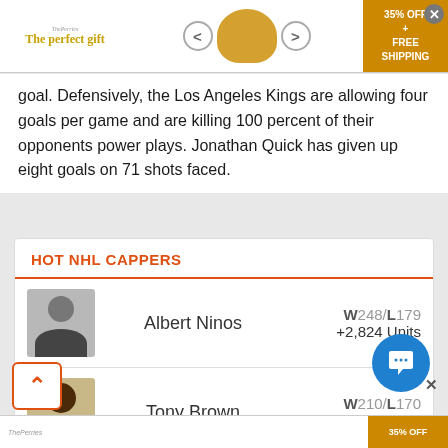[Figure (screenshot): Advertisement banner: 'The perfect gift' with bowl image, navigation arrows, and '35% OFF + FREE SHIPPING' gold button, with close X]
goal. Defensively, the Los Angeles Kings are allowing four goals per game and are killing 100 percent of their opponents power plays. Jonathan Quick has given up eight goals on 71 shots faced.
HOT NHL CAPPERS
Albert Ninos  W248/L179  +2,824 Units
Tony Brown  W210/L170  +2,154 Units
[Figure (screenshot): Bottom advertisement banner with '35% OFF' gold button]
[Figure (other): Back to top button (up arrow in orange border box)]
[Figure (other): Blue chat bubble button with smiley/chat icon]